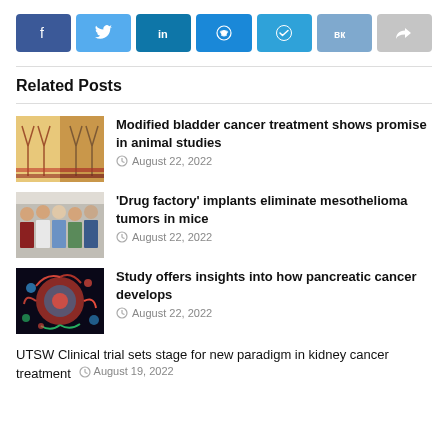[Figure (infographic): Social media share buttons row: Facebook (dark blue), Twitter (light blue), LinkedIn (teal), Reddit (blue), Telegram (blue), VK (steel blue), Share/forward (gray)]
Related Posts
[Figure (photo): Microscopy image showing bladder tissue with Y-shaped structures on orange/yellow background]
Modified bladder cancer treatment shows promise in animal studies
August 22, 2022
[Figure (photo): Group photo of researchers standing together, one in white lab coat]
'Drug factory' implants eliminate mesothelioma tumors in mice
August 22, 2022
[Figure (photo): Colorful microscopy image of pancreatic cancer cells with red, blue, and green fluorescent staining]
Study offers insights into how pancreatic cancer develops
August 22, 2022
UTSW Clinical trial sets stage for new paradigm in kidney cancer treatment  August 19, 2022